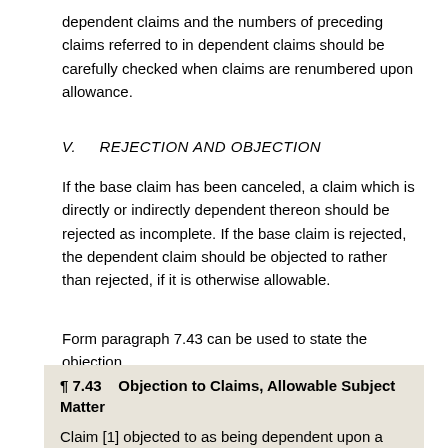dependent claims and the numbers of preceding claims referred to in dependent claims should be carefully checked when claims are renumbered upon allowance.
V.    REJECTION AND OBJECTION
If the base claim has been canceled, a claim which is directly or indirectly dependent thereon should be rejected as incomplete. If the base claim is rejected, the dependent claim should be objected to rather than rejected, if it is otherwise allowable.
Form paragraph 7.43 can be used to state the objection.
¶ 7.43    Objection to Claims, Allowable Subject Matter

Claim [1] objected to as being dependent upon a rejected base claim, but would be allowable if rewritten in independent form including all of the limitations of the base claim and any intervening claims.